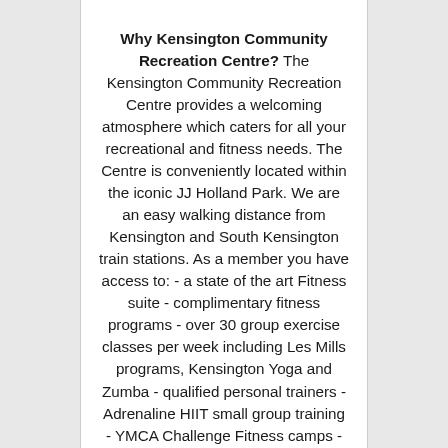Why Kensington Community Recreation Centre? The Kensington Community Recreation Centre provides a welcoming atmosphere which caters for all your recreational and fitness needs. The Centre is conveniently located within the iconic JJ Holland Park. We are an easy walking distance from Kensington and South Kensington train stations. As a member you have access to: - a state of the art Fitness suite - complimentary fitness programs - over 30 group exercise classes per week including Les Mills programs, Kensington Yoga and Zumba - qualified personal trainers - Adrenaline HIIT small group training - YMCA Challenge Fitness camps - indoor 25m